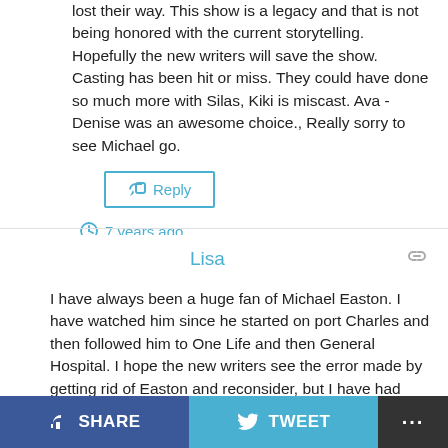lost their way. This show is a legacy and that is not being honored with the current storytelling. Hopefully the new writers will save the show. Casting has been hit or miss. They could have done so much more with Silas, Kiki is miscast. Ava -Denise was an awesome choice., Really sorry to see Michael go.
Reply
7 years ago
Lisa
I have always been a huge fan of Michael Easton. I have watched him since he started on port Charles and then followed him to One Life and then General Hospital. I hope the new writers see the error made by getting rid of Easton and reconsider, but I have had Michael Easton in my life for the 12 years on my television I would follow him to whatever
SHARE
TWEET
...